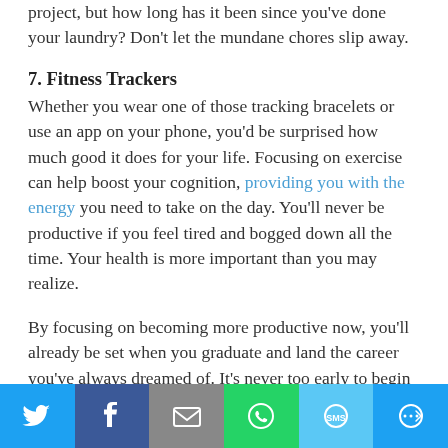project, but how long has it been since you've done your laundry? Don't let the mundane chores slip away.
7. Fitness Trackers
Whether you wear one of those tracking bracelets or use an app on your phone, you'd be surprised how much good it does for your life. Focusing on exercise can help boost your cognition, providing you with the energy you need to take on the day. You'll never be productive if you feel tired and bogged down all the time. Your health is more important than you may realize.
By focusing on becoming more productive now, you'll already be set when you graduate and land the career you've always dreamed of. It's never too early to begin forming lifelong good habits.
[Figure (infographic): Social share bar with icons for Twitter, Facebook, Email, WhatsApp, SMS, and More]